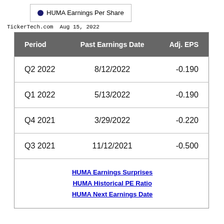[Figure (other): Legend box showing blue dot with label 'HUMA Earnings Per Share']
TickerTech.com  Aug 15, 2022
| Period | Past Earnings Date | Adj. EPS |
| --- | --- | --- |
| Q2 2022 | 8/12/2022 | -0.190 |
| Q1 2022 | 5/13/2022 | -0.190 |
| Q4 2021 | 3/29/2022 | -0.220 |
| Q3 2021 | 11/12/2021 | -0.500 |
|  | HUMA Earnings Surprises
HUMA Historical PE Ratio
HUMA Next Earnings Date |  |